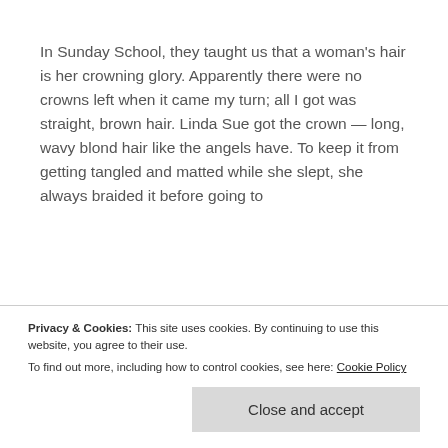In Sunday School, they taught us that a woman's hair is her crowning glory. Apparently there were no crowns left when it came my turn; all I got was straight, brown hair. Linda Sue got the crown — long, wavy blond hair like the angels have. To keep it from getting tangled and matted while she slept, she always braided it before going to
Privacy & Cookies: This site uses cookies. By continuing to use this website, you agree to their use.
To find out more, including how to control cookies, see here: Cookie Policy
Close and accept
day helping grandma pack up boxes because